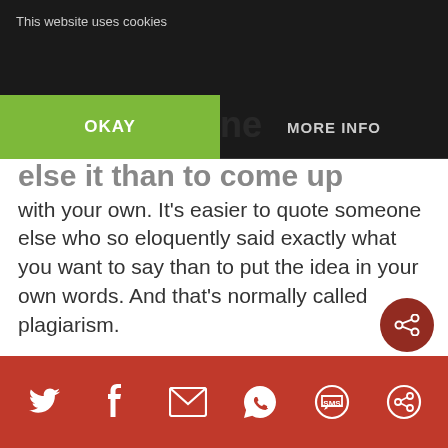This website uses cookies
OKAY | MORE INFO
...else it than to come up with your own. It's easier to quote someone else who so eloquently said exactly what you want to say than to put the idea in your own words. And that's normally called plagiarism.
“But...” you say, “There are tons of books that quote others, some books totally filled with nothing but quotes!” True. And books like those that quote without permission usually end up in...
Social share bar: Twitter, Facebook, Email, WhatsApp, SMS, Share